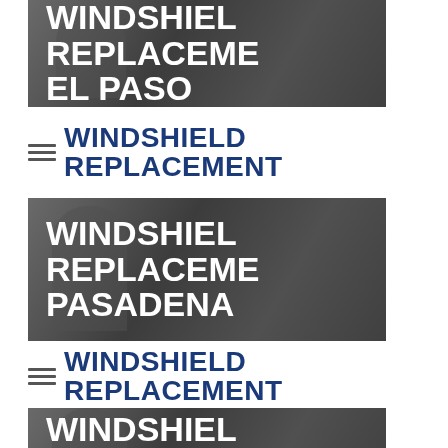[Figure (photo): Dark photo of technician installing windshield with white overlay text reading WINDSHIELD REPLACEMENT EL PASO]
WINDSHIELD REPLACEMENT
[Figure (photo): Dark photo of technician installing windshield with white overlay text reading WINDSHIELD REPLACEMENT PASADENA]
WINDSHIELD REPLACEMENT
[Figure (photo): Dark photo of technician installing windshield with white overlay text reading WINDSHIELD REPLACEMENT (partial, cut off)]